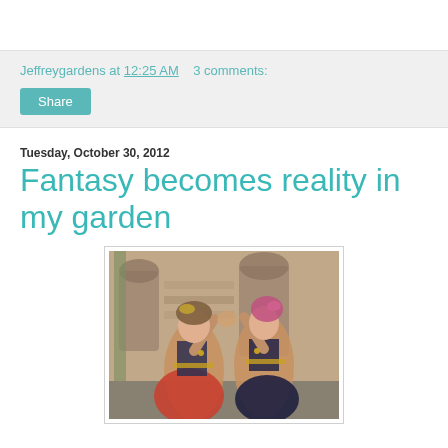Jeffreygardens at 12:25 AM   3 comments:
Share
Tuesday, October 30, 2012
Fantasy becomes reality in my garden
[Figure (photo): Two women in elaborate belly dance / fantasy costumes with gold jewelry and headdresses, performing a mirrored hand gesture (prayer pose / high five) in front of an ornate stone and sculpture garden backdrop with arched niches, stone figures, and lush greenery.]